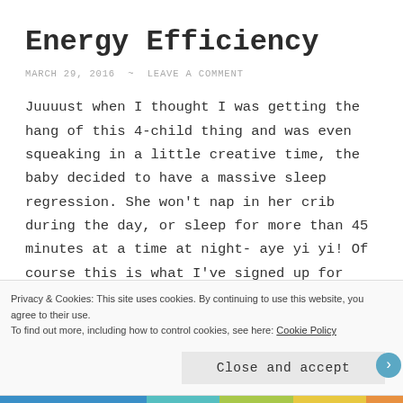Energy Efficiency
MARCH 29, 2016  ~  LEAVE A COMMENT
Juuuust when I thought I was getting the hang of this 4-child thing and was even squeaking in a little creative time, the baby decided to have a massive sleep regression. She won't nap in her crib during the day, or sleep for more than 45 minutes at a time at night- aye yi yi! Of course this is what I've signed up for being a parent of 4, and I know from experience
Privacy & Cookies: This site uses cookies. By continuing to use this website, you agree to their use.
To find out more, including how to control cookies, see here: Cookie Policy
Close and accept